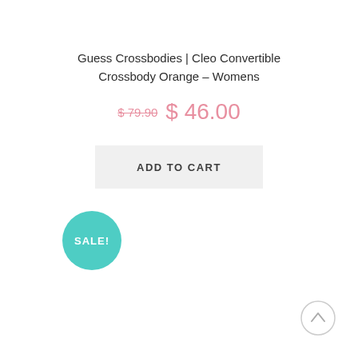Guess Crossbodies | Cleo Convertible Crossbody Orange – Womens
$79.90 $ 46.00
ADD TO CART
[Figure (other): Teal/turquoise circular sale badge with white text reading SALE!]
[Figure (other): Back to top circular arrow button]